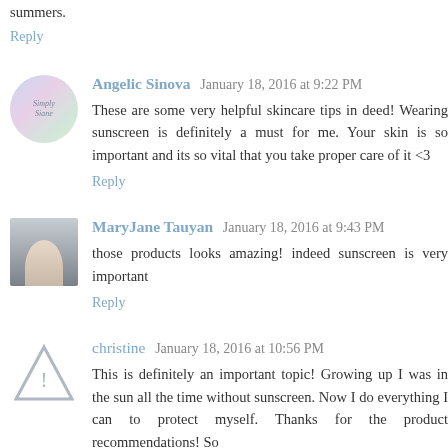summers.
Reply
Angelic Sinova   January 18, 2016 at 9:22 PM
These are some very helpful skincare tips in deed! Wearing sunscreen is definitely a must for me. Your skin is so important and its so vital that you take proper care of it <3
Reply
MaryJane Tauyan   January 18, 2016 at 9:43 PM
those products looks amazing! indeed sunscreen is very important
Reply
christine   January 18, 2016 at 10:56 PM
This is definitely an important topic! Growing up I was in the sun all the time without sunscreen. Now I do everything I can to protect myself. Thanks for the product recommendations! So